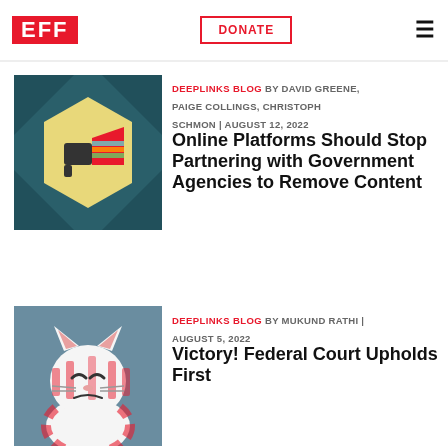EFF | DONATE
[Figure (illustration): Illustrated icon of a megaphone on a dark teal geometric hexagon background]
DEEPLINKS BLOG BY DAVID GREENE, PAIGE COLLINGS, CHRISTOPH SCHMON | AUGUST 12, 2022
Online Platforms Should Stop Partnering with Government Agencies to Remove Content
[Figure (illustration): Illustrated cartoon cat with red and white stripes, angry expression, raising a finger]
DEEPLINKS BLOG BY MUKUND RATHI | AUGUST 5, 2022
Victory! Federal Court Upholds First